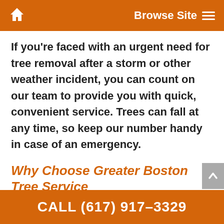Browse Site
If you're faced with an urgent need for tree removal after a storm or other weather incident, you can count on our team to provide you with quick, convenient service. Trees can fall at any time, so keep our number handy in case of an emergency.
Why Choose Greater Boston Tree Service
While there are many tree removal and cutting companies in the area, not all services or capabilities are the same. Our company is licensed
CALL (617) 917-3329